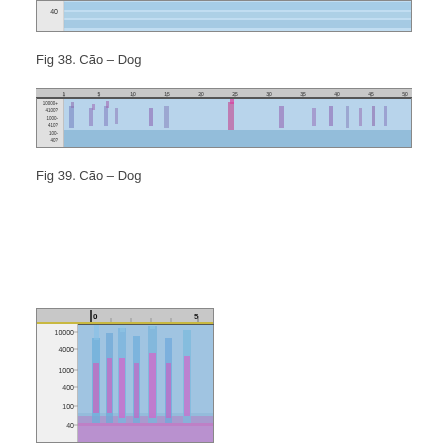[Figure (continuous-plot): Top portion of a spectrogram (cropped), showing frequency content over time with blue hues and a y-axis label of 40]
Fig 38. Cão – Dog
[Figure (continuous-plot): Spectrogram of dog vocalization (Cão – Dog) showing frequency vs time from 0 to 50 seconds, with y-axis log scale from 40 to 10000+, blue background with pink/purple vertical bursts indicating vocalizations]
Fig 39. Cão – Dog
[Figure (continuous-plot): Zoomed spectrogram of dog vocalization (Cão – Dog) showing first ~5 seconds, y-axis log scale from 40 to 10000, with prominent pink/red and blue frequency bursts]